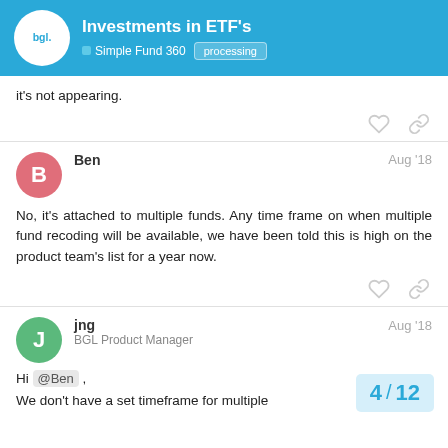Investments in ETF's | Simple Fund 360 | processing
it's not appearing.
Ben — Aug '18
No, it's attached to multiple funds. Any time frame on when multiple fund recoding will be available, we have been told this is high on the product team's list for a year now.
jng — BGL Product Manager — Aug '18
Hi @Ben , We don't have a set timeframe for multiple